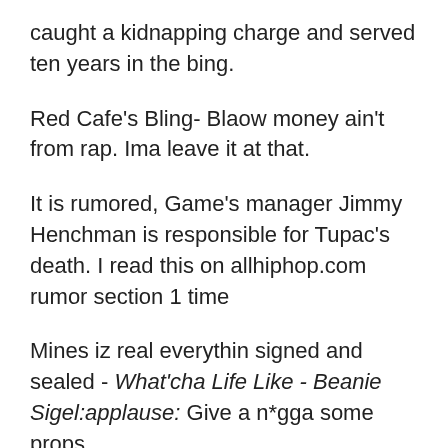caught a kidnapping charge and served ten years in the bing.
Red Cafe's Bling- Blaow money ain't from rap. Ima leave it at that.
It is rumored, Game's manager Jimmy Henchman is responsible for Tupac's death. I read this on allhiphop.com rumor section 1 time
Mines iz real everythin signed and sealed - What'cha Life Like - Beanie Sigel:applause: Give a n*gga some props